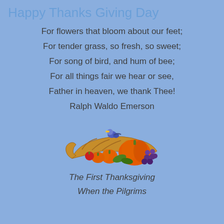Happy Thanks Giving Day
For flowers that bloom about our feet;
For tender grass, so fresh, so sweet;
For song of bird, and hum of bee;
For all things fair we hear or see,
Father in heaven, we thank Thee!
Ralph Waldo Emerson
[Figure (illustration): A cornucopia (horn of plenty) filled with pumpkins, fruits, grapes, and vegetables, with a small bird perched on top.]
The First Thanksgiving
When the Pilgrims